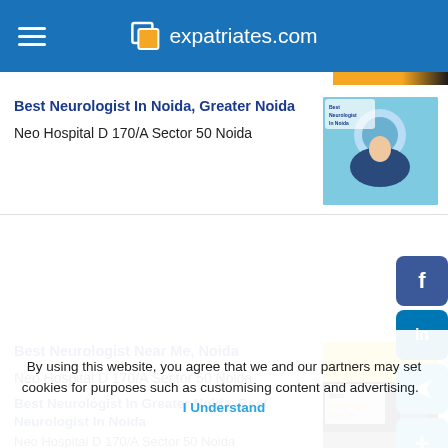expatriates.com
Best Neurologist In Noida, Greater Noida
Neo Hospital D 170/A Sector 50 Noida
[Figure (photo): Doctor/neurologist promotional image for Neo Hospital, Noida]
Best Neurologist Near Me, Noida
Neo Hospital D 170/A Sector 50 Noida
[Figure (photo): Best Neurologist Near Me promotional image with yellow and black branding]
Best Neurologist In Greater Noida, Best Neurologist In Noida
Neo Hospital D 170/A Sector 50 Noida
By using this website, you agree that we and our partners may set cookies for purposes such as customising content and advertising.  I Understand